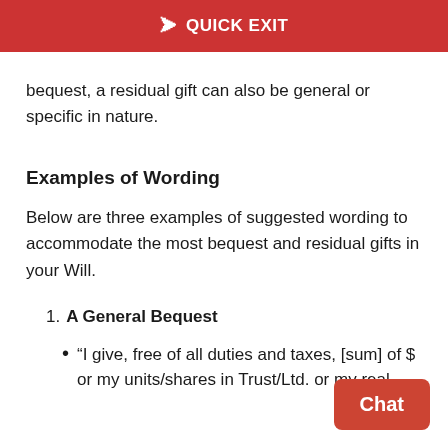QUICK EXIT
bequest, a residual gift can also be general or specific in nature.
Examples of Wording
Below are three examples of suggested wording to accommodate the most bequest and residual gifts in your Will.
1. A General Bequest
• “I give, free of all duties and taxes, [sum] of $ or my units/shares in Trust/Ltd. or my real